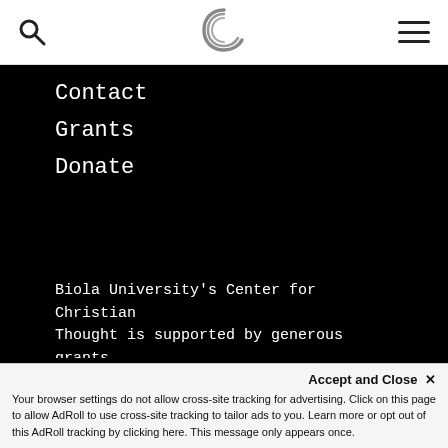Contact
Grants
Donate
Biola University's Center for Christian Thought is supported by generous grants from:
[Figure (logo): John Templeton Foundation logo (partial, white on black)]
Your browser settings do not allow cross-site tracking for advertising. Click on this page to allow AdRoll to use cross-site tracking to tailor ads to you. Learn more or opt out of this AdRoll tracking by clicking here. This message only appears once.